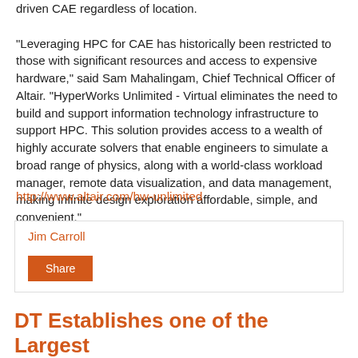driven CAE regardless of location. "Leveraging HPC for CAE has historically been restricted to those with significant resources and access to expensive hardware," said Sam Mahalingam, Chief Technical Officer of Altair.  "HyperWorks Unlimited - Virtual eliminates the need to build and support information technology infrastructure to support HPC.  This solution provides access to a wealth of highly accurate solvers that enable engineers to simulate a broad range of physics, along with a world-class workload manager, remote data visualization, and data management, making infinite design exploration affordable, simple, and convenient."
http://www.altair.com/hw-unlimited
Jim Carroll
Share
DT Establishes one of the Largest